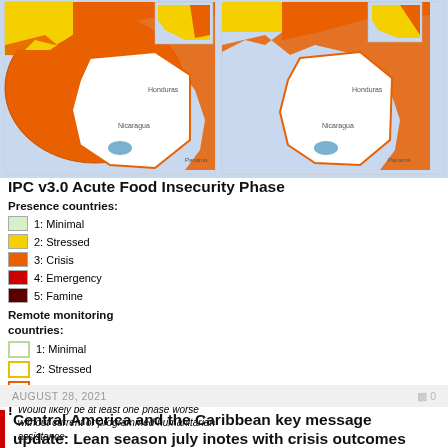[Figure (map): Two side-by-side IPC v3.0 Acute Food Insecurity Phase maps of Central America showing food insecurity phases by region, with orange (Crisis) dominating the coastal/border areas and white/yellow interior regions.]
IPC v3.0 Acute Food Insecurity Phase
Presence countries:
1: Minimal
2: Stressed
3: Crisis
4: Emergency
5: Famine
Remote monitoring countries:
1: Minimal
2: Stressed
3+: Crisis or higher
! Would likely be at least one phase worse without current or programmed humanitarian assistance
FEWS NET classification is IPC-compatible. IPC-compatible analysis follows key IPC protocols but does not necessarily reflect the consensus of national food security partners.
AUGUST 28, 2021
Central America and the Caribbean key message update: Lean season july inotes with crisis outcomes